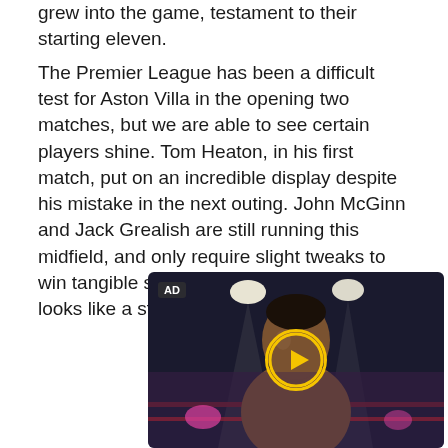grew into the game, testament to their starting eleven.
The Premier League has been a difficult test for Aston Villa in the opening two matches, but we are able to see certain players shine. Tom Heaton, in his first match, put on an incredible display despite his mistake in the next outing. John McGinn and Jack Grealish are still running this midfield, and only require slight tweaks to win tangible success on the pitch. Engels looks like a steal.
[Figure (photo): Video advertisement thumbnail showing a boxer in a boxing ring under spotlights, with a yellow play button circle overlay and an AD badge in the top-left corner.]